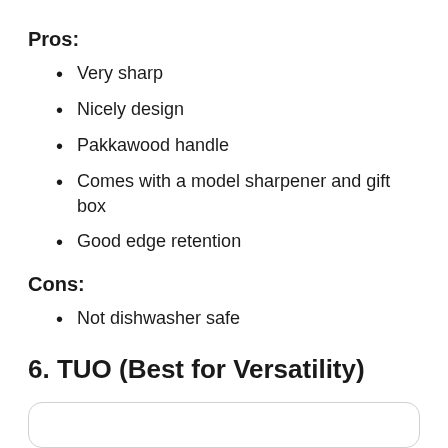Pros:
Very sharp
Nicely design
Pakkawood handle
Comes with a model sharpener and gift box
Good edge retention
Cons:
Not dishwasher safe
6. TUO (Best for Versatility)